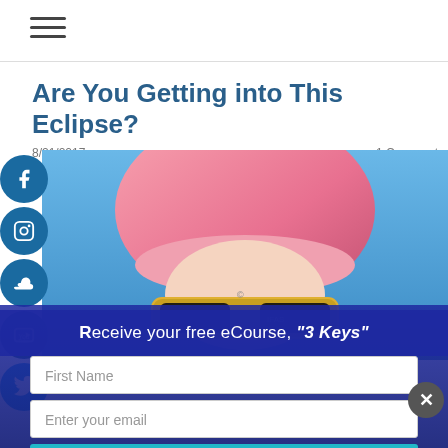☰ (hamburger menu)
Are You Getting into This Eclipse?
8/21/2017   1 Comment
[Figure (photo): Person with pink hair wearing eclipse glasses / solar viewing glasses with yellow frames, against a blue background]
Receive your free eCourse, "3 Keys"
First Name
Enter your email
Submit